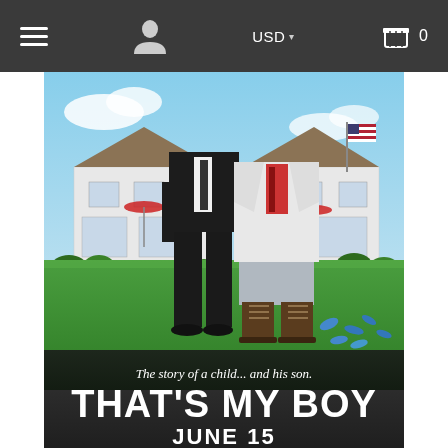Navigation bar with hamburger menu, user icon, USD currency selector, and cart with 0 items
[Figure (photo): Movie poster for 'That's My Boy' (June 15). Shows two men standing on a lawn in front of a large house with an American flag. Left man wears a black suit, right man wears a white blazer and grey shorts with boots. Tagline: 'The story of a child... and his son.' Title: THAT'S MY BOY, Release: JUNE 15.]